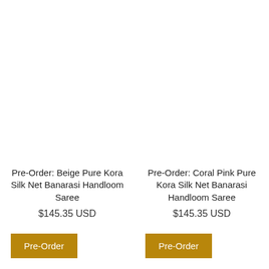Pre-Order: Beige Pure Kora Silk Net Banarasi Handloom Saree
$145.35 USD
Pre-Order
Pre-Order: Coral Pink Pure Kora Silk Net Banarasi Handloom Saree
$145.35 USD
Pre-Order